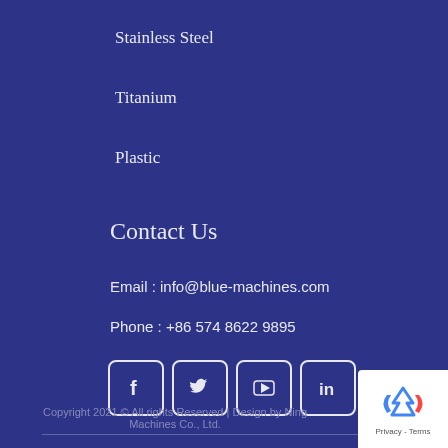Stainless Steel
Titanium
Plastic
Contact Us
Email : info@blue-machines.com
Phone : +86 574 8622 9895
[Figure (other): Social media icon buttons: Facebook, Twitter, YouTube, LinkedIn]
Copyright 2021 © All rights Reserved | Design by Ning Machines Co., Ltd.